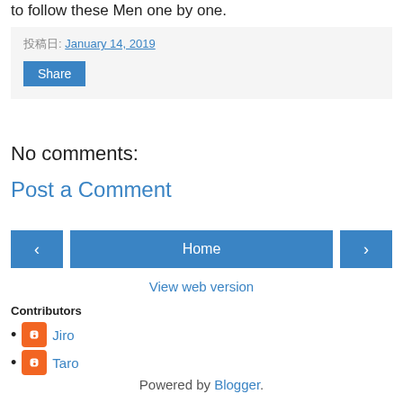to follow these Men one by one.
投稿日: January 14, 2019
Share
No comments:
Post a Comment
< Home >
View web version
Contributors
Jiro
Taro
Powered by Blogger.